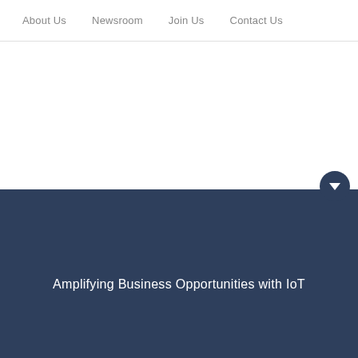About Us  Newsroom  Join Us  Contact Us
Amplifying Business Opportunities with IoT